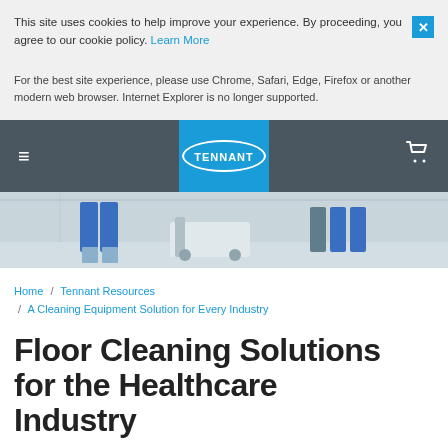This site uses cookies to help improve your experience. By proceeding, you agree to our cookie policy. Learn More
For the best site experience, please use Chrome, Safari, Edge, Firefox or another modern web browser. Internet Explorer is no longer supported.
[Figure (screenshot): Tennant company navigation bar with hamburger menu, Tennant logo in blue box, and cart icon]
[Figure (photo): Hero image showing people in blue scrubs pushing cleaning equipment in a hallway]
Home / Tennant Resources / A Cleaning Equipment Solution for Every Industry
Floor Cleaning Solutions for the Healthcare Industry